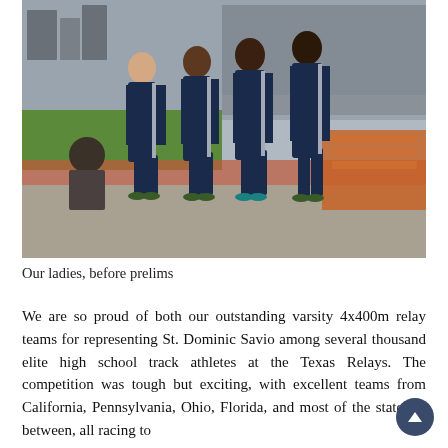[Figure (photo): Four women in matching navy blue and white track uniforms/warm-up jackets posing together at a track and field stadium. Bleachers with spectators and a sports field visible in the background on a cloudy day.]
Our ladies, before prelims
We are so proud of both our outstanding varsity 4x400m relay teams for representing St. Dominic Savio among several thousand elite high school track athletes at the Texas Relays. The competition was tough but exciting, with excellent teams from California, Pennsylvania, Ohio, Florida, and most of the states in between, all racing to